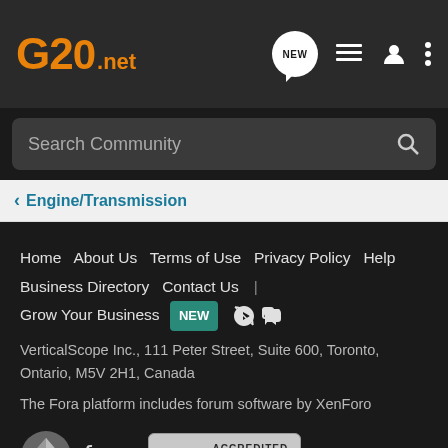G20.net — header with logo and navigation icons (NEW, list, user, menu)
Search Community
Engine/Transmission
Home  About Us  Terms of Use  Privacy Policy  Help  Business Directory  Contact Us  |  Grow Your Business  NEW
VerticalScope Inc., 111 Peter Street, Suite 600, Toronto, Ontario, M5V 2H1, Canada
The Fora platform includes forum software by XenForo
[Figure (logo): Fora platform logo and BBB Accredited Business badge]